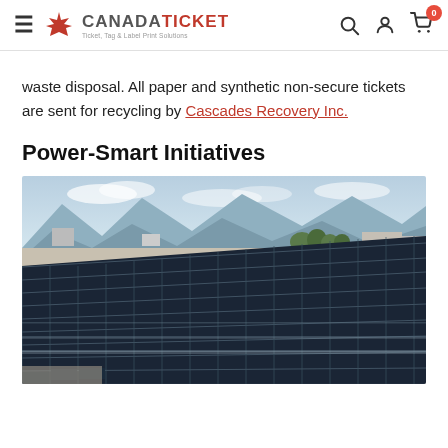CanadaTicket — Ticket, Tag & Label Print Solutions
waste disposal. All paper and synthetic non-secure tickets are sent for recycling by Cascades Recovery Inc.
Power-Smart Initiatives
[Figure (photo): Aerial view of rooftop solar panels with mountains in the background]